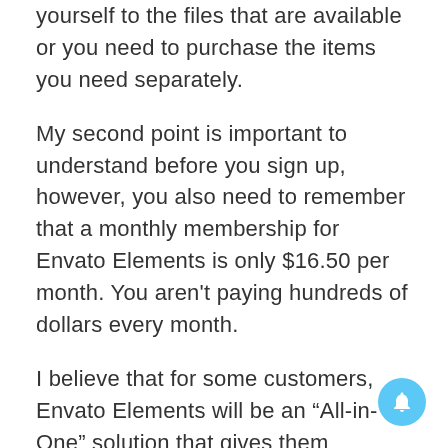yourself to the files that are available or you need to purchase the items you need separately.
My second point is important to understand before you sign up, however, you also need to remember that a monthly membership for Envato Elements is only $16.50 per month. You aren't paying hundreds of dollars every month.
I believe that for some customers, Envato Elements will be an “All-in-One” solution that gives them everything they need; but for others,